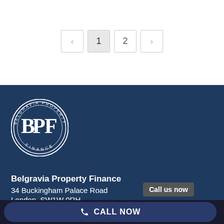[Figure (other): Pagination controls with back arrow, page 1 (active/highlighted), page 2, and forward arrow buttons]
[Figure (logo): Belgravia Property Finance circular logo with BPF monogram and text around the border]
Belgravia Property Finance
34 Buckingham Palace Road
London, SW1W 0RH
Call us now
CALL NOW